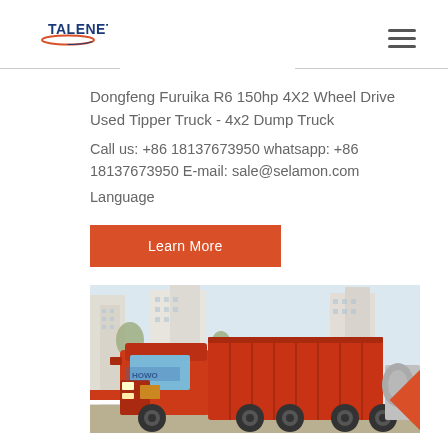TALENET
Dongfeng Furuika R6 150hp 4X2 Wheel Drive Used Tipper Truck - 4x2 Dump Truck
Call us: +86 18137673950 whatsapp: +86 18137673950 E-mail: sale@selamon.com
Language
Learn More
[Figure (photo): Red dump truck (HOWO/Sinotruk brand) parked in front of tall residential buildings. The truck is red with a large tipper/dump body. Another grey cement mixer truck is visible in the background to the right.]